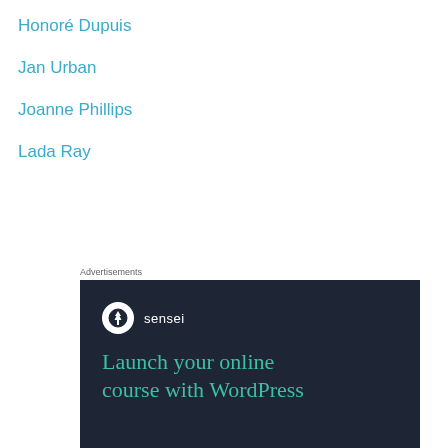Honoré Dupuis
Jan Urban
Joanne Phillips
Lada Ray
Advertisements
[Figure (illustration): Sensei advertisement banner with dark navy background. Shows Sensei logo (tree icon in white circle) with 'sensei' text, and headline 'Launch your online course with WordPress' in teal/green color.]